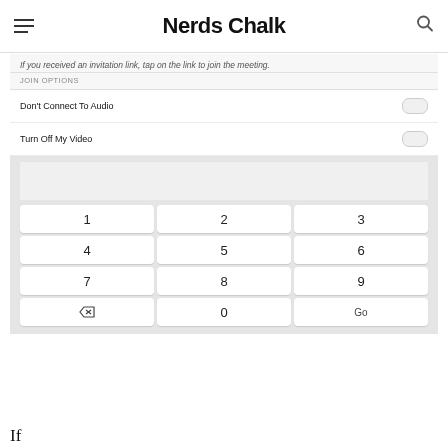Nerds Chalk
[Figure (screenshot): Mobile app screenshot showing Zoom join meeting options with toggles for 'Don't Connect To Audio' and 'Turn Off My Video', followed by a numeric keypad with keys 1-9, backspace, 0, and Go]
If you received an invitation link, tap on the link to join the meeting.
If